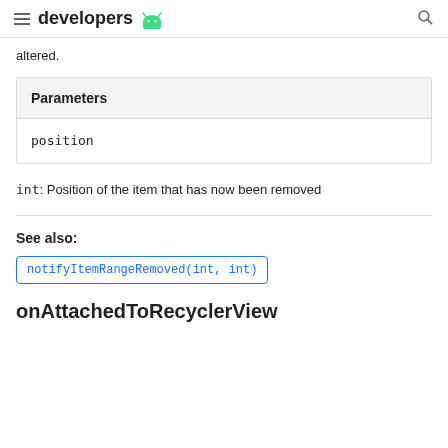developers
altered.
| Parameters |
| --- |
| position |
int: Position of the item that has now been removed
See also:
notifyItemRangeRemoved(int, int)
onAttachedToRecyclerView